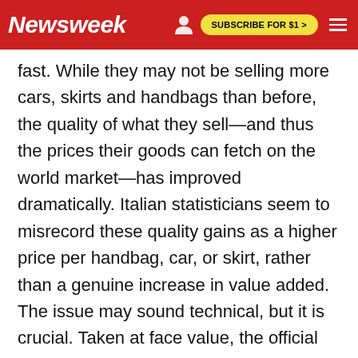Newsweek | SUBSCRIBE FOR $1 >
fast. While they may not be selling more cars, skirts and handbags than before, the quality of what they sell—and thus the prices their goods can fetch on the world market—has improved dramatically. Italian statisticians seem to misrecord these quality gains as a higher price per handbag, car, or skirt, rather than a genuine increase in value added. The issue may sound technical, but it is crucial. Taken at face value, the official statistics suggest that Italian companies are trying to peddle—say—the same old shirts for much higher prices than